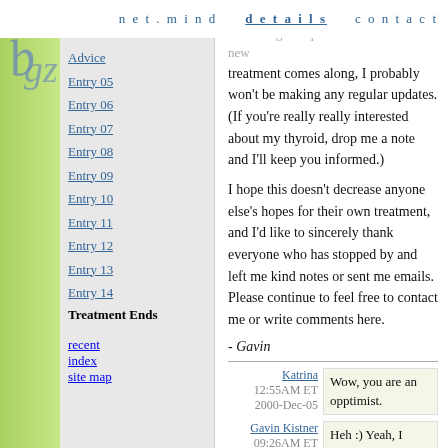net.mind   details   contact
[Figure (logo): Stylized 'bgz' logo in blue-gray script]
Advice
Entry 05
Entry 06
Entry 07
Entry 08
Entry 09
Entry 10
Entry 11
Entry 12
Entry 13
Entry 14
Treatment Ends
recent
index
site map
contribution to the net.mind, but unless something unexpected occurs or until a new treatment comes along, I probably won't be making any regular updates. (If you're really really interested about my thyroid, drop me a note and I'll keep you informed.)
I hope this doesn't decrease anyone else's hopes for their own treatment, and I'd like to sincerely thank everyone who has stopped by and left me kind notes or sent me emails. Please continue to feel free to contact me or write comments here.
- Gavin
Katrina  12:55AM ET  2000-Dec-05  Wow, you are an opptimist.
Gavin Kistner  09:26AM ET  2000-Dec-05  Heh :) Yeah, I know it. And like I said, my situation is different than some, where my disease hasn't progressed too far, so I'm not in dire need of curing it right now.